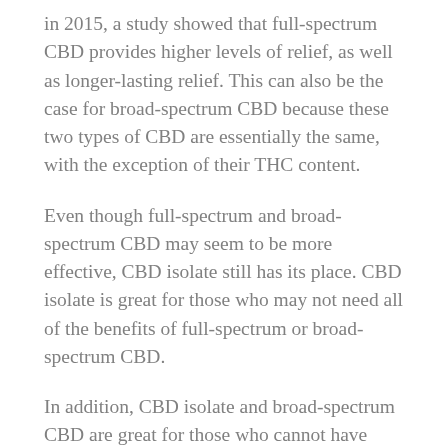in 2015, a study showed that full-spectrum CBD provides higher levels of relief, as well as longer-lasting relief. This can also be the case for broad-spectrum CBD because these two types of CBD are essentially the same, with the exception of their THC content.
Even though full-spectrum and broad-spectrum CBD may seem to be more effective, CBD isolate still has its place. CBD isolate is great for those who may not need all of the benefits of full-spectrum or broad-spectrum CBD.
In addition, CBD isolate and broad-spectrum CBD are great for those who cannot have THC in their system for legal purpose or drug tests, or for those who simply do not want to worry about ingesting THC. In you are in any of these situations, CBD isolate and broad-spectrum CBD may be for you simply because they do not contain any THC that can get into your system in the first place.